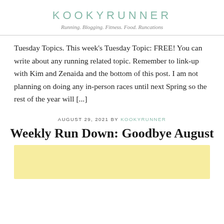KOOKYRUNNER
Running. Blogging. Fitness. Food. Runcations
Tuesday Topics. This week's Tuesday Topic: FREE! You can write about any running related topic. Remember to link-up with Kim and Zenaida and the bottom of this post. I am not planning on doing any in-person races until next Spring so the rest of the year will [...]
AUGUST 29, 2021 BY KOOKYRUNNER
Weekly Run Down: Goodbye August
[Figure (photo): Yellow/light gold colored image placeholder below the Weekly Run Down: Goodbye August post title]